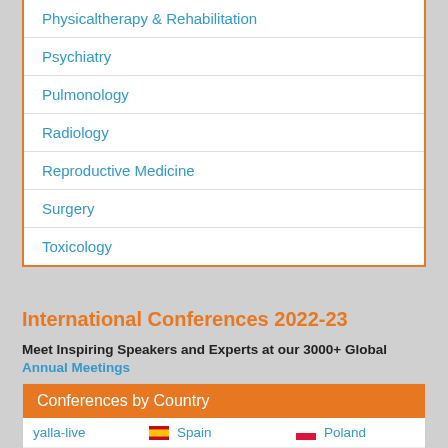Physicaltherapy & Rehabilitation
Psychiatry
Pulmonology
Radiology
Reproductive Medicine
Surgery
Toxicology
International Conferences 2022-23
Meet Inspiring Speakers and Experts at our 3000+ Global Annual Meetings
|  | Country | Country | Country |
| --- | --- | --- | --- |
| yalla-live | Spain | Poland |
| USA | Canada | Austria |